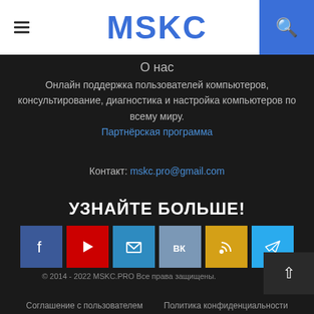MSKC
О нас
Онлайн поддержка пользователей компьютеров, консультирование, диагностика и настройка компьютеров по всему миру.
Партнёрская программа
Контакт: mskc.pro@gmail.com
УЗНАЙТЕ БОЛЬШЕ!
[Figure (infographic): Social media icon buttons: Facebook (blue), YouTube (red), Email (blue), VK (gray-blue), RSS (gold), Telegram (light blue)]
© 2014 - 2022 MSKC.PRO Все права защищены.
Соглашение с пользователем   Политика конфиденциальности